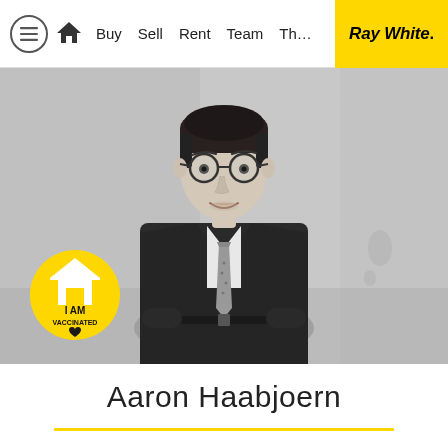≡  🏠  Buy  Sell  Rent  Team  Th…  Ray White.
[Figure (photo): Black and white professional photo of Aaron Haabjoern, a man in a dark suit with a patterned tie, wearing round glasses, smiling, standing against a concrete wall background. A yellow 'I AM VACCINATED' badge with a house icon and heart is overlaid in the bottom-left corner.]
Aaron Haabjoern